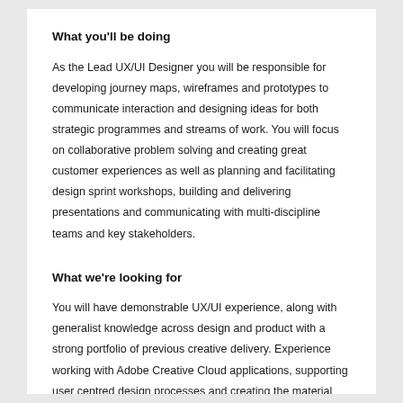What you'll be doing
As the Lead UX/UI Designer you will be responsible for developing journey maps, wireframes and prototypes to communicate interaction and designing ideas for both strategic programmes and streams of work. You will focus on collaborative problem solving and creating great customer experiences as well as planning and facilitating design sprint workshops, building and delivering presentations and communicating with multi-discipline teams and key stakeholders.
What we're looking for
You will have demonstrable UX/UI experience, along with generalist knowledge across design and product with a strong portfolio of previous creative delivery. Experience working with Adobe Creative Cloud applications, supporting user centred design processes and creating the material required to support user testing and concept